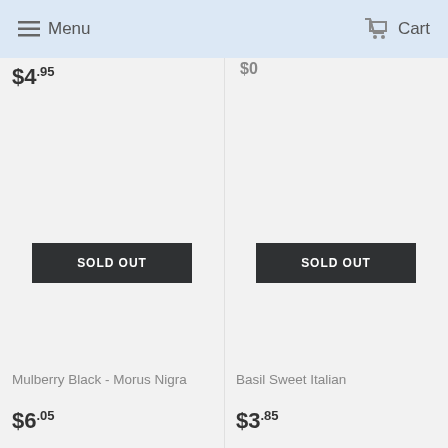Menu  Cart
$4.95
$0
[Figure (other): Sold Out button overlay on product image area for Mulberry Black - Morus Nigra]
[Figure (other): Sold Out button overlay on product image area for Basil Sweet Italian]
Mulberry Black - Morus Nigra
$6.05
Basil Sweet Italian
$3.85